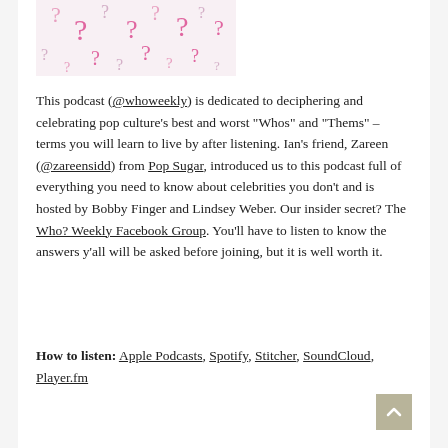[Figure (illustration): White/light background with scattered pink question marks of various sizes forming a pattern]
This podcast (@whoweekly) is dedicated to deciphering and celebrating pop culture’s best and worst “Whos” and “Thems” – terms you will learn to live by after listening. Ian’s friend, Zareen (@zareensidd) from Pop Sugar, introduced us to this podcast full of everything you need to know about celebrities you don’t and is hosted by Bobby Finger and Lindsey Weber. Our insider secret? The Who? Weekly Facebook Group. You’ll have to listen to know the answers y’all will be asked before joining, but it is well worth it.
How to listen: Apple Podcasts, Spotify, Stitcher, SoundCloud, Player.fm